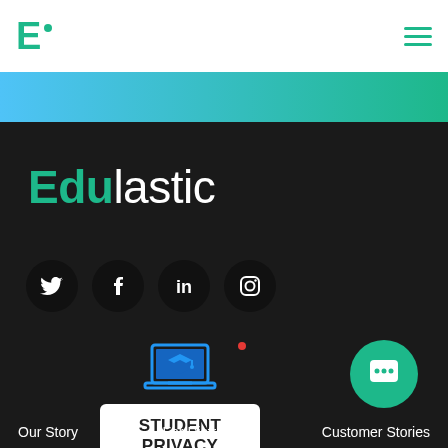E. [Edulastic logo] with hamburger menu
[Figure (logo): Edulastic logo - green E with dot in white navigation bar]
[Figure (illustration): Gradient banner blue to teal/green]
Edulastic
[Figure (illustration): Social media icons: Twitter, Facebook, LinkedIn, Instagram - dark circles]
[Figure (logo): Student Privacy Pledge 2020 Signatory badge with laptop icon]
STUDENT PRIVACY PLEDGE 2020 SIGNATORY
[Figure (illustration): Chat/support bubble icon bottom right]
Our Story    For Districts    Customer Stories